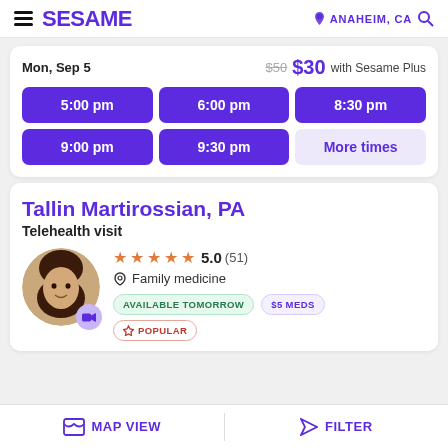SESAME — ANAHEIM, CA
Mon, Sep 5   $50  $30 with Sesame Plus
5:00 pm | 6:00 pm | 8:30 pm | 9:00 pm | 9:30 pm | More times
Tallin Martirossian, PA
Telehealth visit
★★★★★ 5.0 (51) Family medicine AVAILABLE TOMORROW $5 MEDS POPULAR
MAP VIEW   FILTER